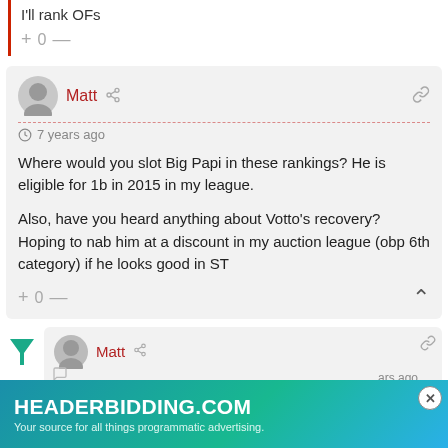I'll rank OFs
+ 0 —
Matt
7 years ago
Where would you slot Big Papi in these rankings? He is eligible for 1b in 2015 in my league.

Also, have you heard anything about Votto's recovery? Hoping to nab him at a discount in my auction league (obp 6th category) if he looks good in ST
+ 0 —
Matt
[Figure (infographic): Advertisement banner for HEADERBIDDING.COM with text 'Your source for all things programmatic advertising.']